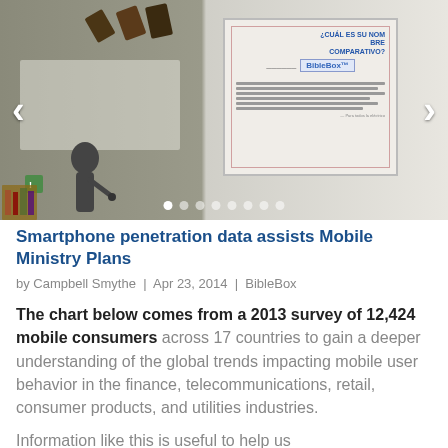[Figure (photo): Slideshow image showing a classroom/meeting setting with a speaker at a whiteboard on the left and a projection screen displaying BibleBox presentation slides on the right. Navigation arrows on both sides and slide indicator dots at the bottom.]
Smartphone penetration data assists Mobile Ministry Plans
by Campbell Smythe | Apr 23, 2014 | BibleBox
The chart below comes from a 2013 survey of 12,424 mobile consumers across 17 countries to gain a deeper understanding of the global trends impacting mobile user behavior in the finance, telecommunications, retail, consumer products, and utilities industries.
Information like this is useful to help us